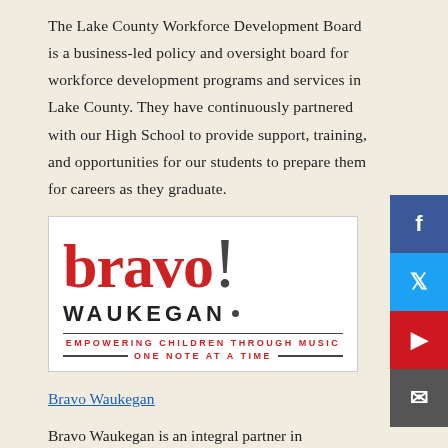The Lake County Workforce Development Board is a business-led policy and oversight board for workforce development programs and services in Lake County. They have continuously partnered with our High School to provide support, training, and opportunities for our students to prepare them for careers as they graduate.
[Figure (logo): Bravo Waukegan logo: 'bravo!' in red serif font, 'WAUKEGAN' in black capitals, tagline 'EMPOWERING CHILDREN THROUGH MUSIC ONE NOTE AT A TIME' in red small caps]
Bravo Waukegan
Bravo Waukegan is an integral partner in supporting music education in the Waukegan public schools. Bravo brings a variety of resources to Waukegan's music students and their teachers, impacting 7,000 students through its programs each year. Bravo's